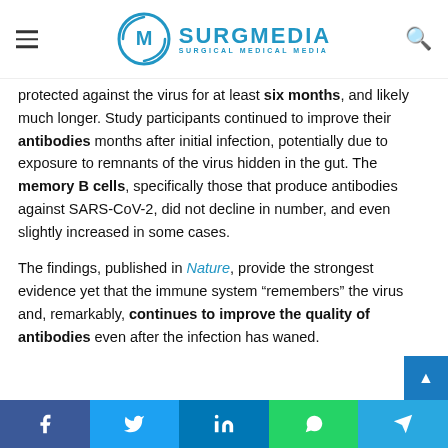SURGMEDIA - Surgical Medical Media
protected against the virus for at least six months, and likely much longer. Study participants continued to improve their antibodies months after initial infection, potentially due to exposure to remnants of the virus hidden in the gut. The memory B cells, specifically those that produce antibodies against SARS-CoV-2, did not decline in number, and even slightly increased in some cases.
The findings, published in Nature, provide the strongest evidence yet that the immune system “remembers” the virus and, remarkably, continues to improve the quality of antibodies even after the infection has waned.
Share buttons: Facebook, Twitter, LinkedIn, WhatsApp, Telegram